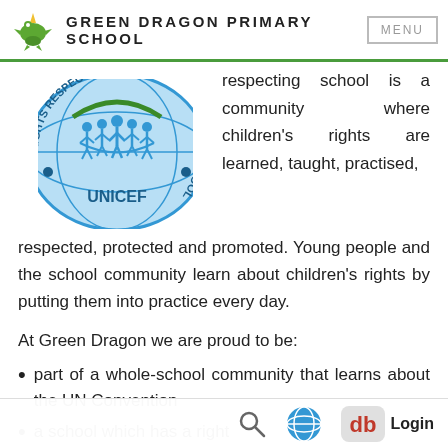GREEN DRAGON PRIMARY SCHOOL
[Figure (logo): UNICEF Rights Respecting School circular logo with children figures on a globe, blue and green colors]
respecting school is a community where children's rights are learned, taught, practised, respected, protected and promoted. Young people and the school community learn about children's rights by putting them into practice every day.
At Green Dragon we are proud to be:
part of a whole-school community that learns about the UN Convention
a school which has a right